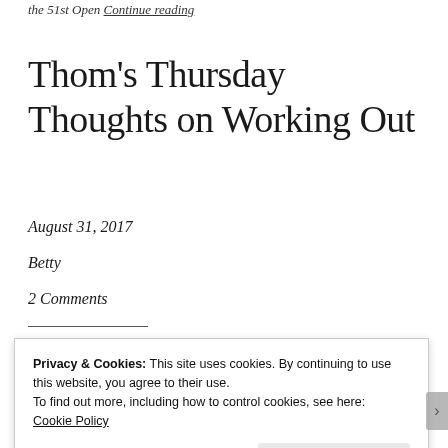the 51st Open Continue reading
Thom's Thursday Thoughts on Working Out
August 31, 2017
Betty
2 Comments
[Figure (photo): Outdoor photo showing trees against a light blue sky, partially visible behind a cookie consent banner]
Privacy & Cookies: This site uses cookies. By continuing to use this website, you agree to their use.
To find out more, including how to control cookies, see here:
Cookie Policy